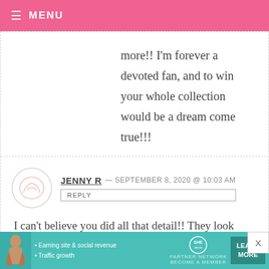≡ MENU
more!! I'm forever a devoted fan, and to win your whole collection would be a dream come true!!!
JENNY R — SEPTEMBER 8, 2020 @ 10:03 AM
I can't believe you did all that detail!! They look amazing!! Your spring chicks are one of my favorites because those are the ones
[Figure (infographic): SHE Partner Network ad banner with woman silhouette, bullet points about Earning site & social revenue and Traffic growth, SHE logo, and LEARN MORE button]